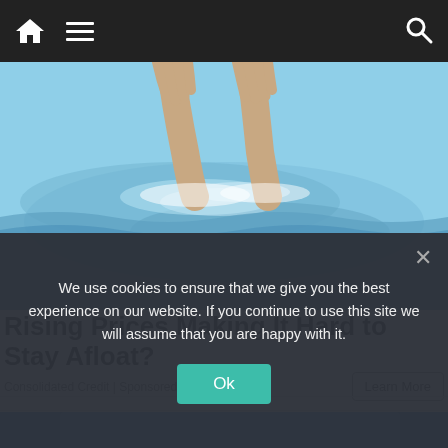Navigation bar with home, menu, and search icons
[Figure (photo): Person's hands and arms emerging from rippling water, suggesting swimming or struggling to stay afloat]
Rising Prices Making It Hard to Stay Afloat?
Consolidated Credit | Sponsored
[Figure (photo): Partial view of a blue object, likely a pool noodle or flotation device]
We use cookies to ensure that we give you the best experience on our website. If you continue to use this site we will assume that you are happy with it.